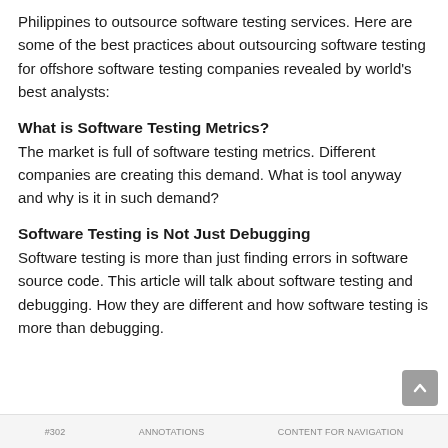Philippines to outsource software testing services. Here are some of the best practices about outsourcing software testing for offshore software testing companies revealed by world's best analysts:
What is Software Testing Metrics?
The market is full of software testing metrics. Different companies are creating this demand. What is tool anyway and why is it in such demand?
Software Testing is Not Just Debugging
Software testing is more than just finding errors in software source code. This article will talk about software testing and debugging. How they are different and how software testing is more than debugging.
#302   ANNOTATIONS   CONTENT FOR NAVIGATION